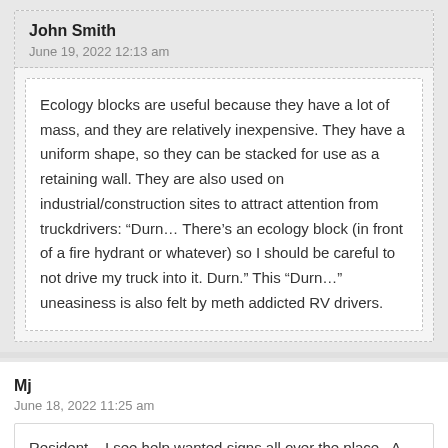John Smith
June 19, 2022 12:13 am
Ecology blocks are useful because they have a lot of mass, and they are relatively inexpensive. They have a uniform shape, so they can be stacked for use as a retaining wall. They are also used on industrial/construction sites to attract attention from truckdrivers: “Durn… There’s an ecology block (in front of a fire hydrant or whatever) so I should be careful to not drive my truck into it. Durn.” This “Durn…” uneasiness is also felt by meth addicted RV drivers.
Mj
June 18, 2022 11:25 am
Resident – I see help wanted signs all over the place.  A single person working full time can find a place to rent AND not be homeless!